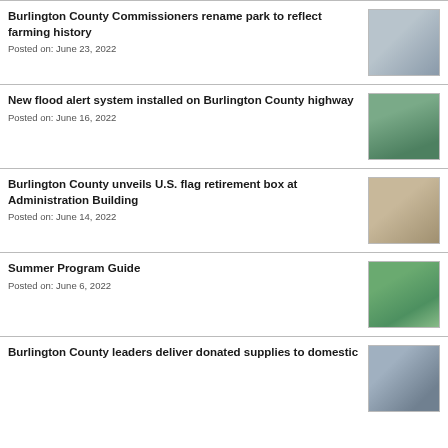Burlington County Commissioners rename park to reflect farming history
Posted on: June 23, 2022
[Figure (photo): Photo related to Burlington County Commissioners renaming park]
New flood alert system installed on Burlington County highway
Posted on: June 16, 2022
[Figure (photo): Photo of flood alert system on highway]
Burlington County unveils U.S. flag retirement box at Administration Building
Posted on: June 14, 2022
[Figure (photo): Photo of flag retirement box at Administration Building]
Summer Program Guide
Posted on: June 6, 2022
[Figure (photo): Photo for Summer Program Guide]
Burlington County leaders deliver donated supplies to domestic
[Figure (photo): Photo of Burlington County leaders delivering supplies]